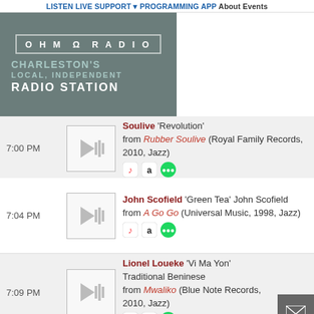LISTEN LIVE SUPPORT PROGRAMMING APP About Events
[Figure (logo): OHM Omega RADIO logo with text: CHARLESTON'S LOCAL, INDEPENDENT RADIO STATION on grey background]
7:00 PM — Soulive 'Revolution' from Rubber Soulive (Royal Family Records, 2010, Jazz)
7:04 PM — John Scofield 'Green Tea' John Scofield from A Go Go (Universal Music, 1998, Jazz)
7:09 PM — Lionel Loueke 'Vi Ma Yon' Traditional Beninese from Mwaliko (Blue Note Records, 2010, Jazz)